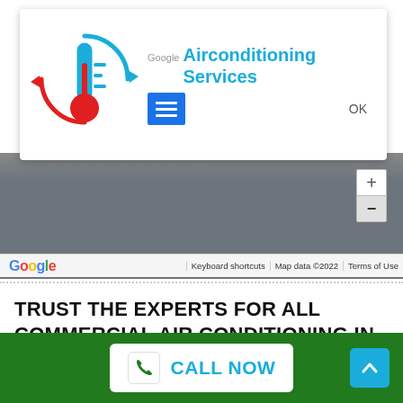[Figure (screenshot): Google Maps screenshot showing an air conditioning services business listing. Features a thermometer icon with blue and red circular arrows, the text 'Google Airconditioning Services', a blue menu icon, and the word 'OK'. The map background is grey with a zoom control on the right. Google logo and footer bar show 'Keyboard shortcuts | Map data ©2022 | Terms of Use'.]
TRUST THE EXPERTS FOR ALL COMMERCIAL AIR CONDITIONING IN LUSCOMBE
CALL NOW